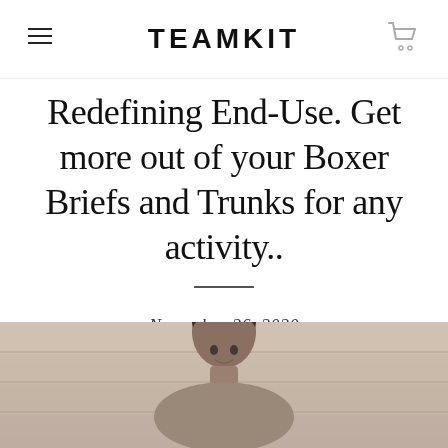TEAMKIT
Redefining End-Use. Get more out of your Boxer Briefs and Trunks for any activity..
November 26, 2020
[Figure (photo): Photograph of a man from shoulders up, dark short hair, light background with stone/tile wall]